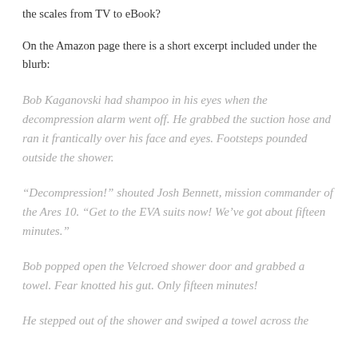the scales from TV to eBook?
On the Amazon page there is a short excerpt included under the blurb:
Bob Kaganovski had shampoo in his eyes when the decompression alarm went off. He grabbed the suction hose and ran it frantically over his face and eyes. Footsteps pounded outside the shower.
“Decompression!” shouted Josh Bennett, mission commander of the Ares 10. “Get to the EVA suits now! We’ve got about fifteen minutes.”
Bob popped open the Velcroed shower door and grabbed a towel. Fear knotted his gut. Only fifteen minutes!
He stepped out of the shower and swiped a towel across the